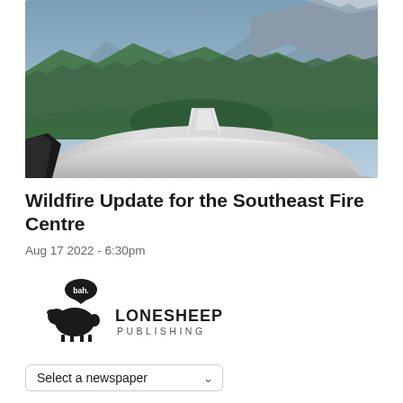[Figure (photo): Aerial photograph taken from a small aircraft showing a forested mountain valley. The silver fuselage and tail of the plane is visible in the foreground, with green tree-covered mountain slopes and rocky peaks in the background under a partly cloudy sky.]
Wildfire Update for the Southeast Fire Centre
Aug 17 2022 - 6:30pm
[Figure (logo): Lone Sheep Publishing logo: a black sheep silhouette with a speech bubble saying 'bah.' above it, and the text 'LONESHEEP PUBLISHING' in bold and regular weight to the right.]
Select a newspaper